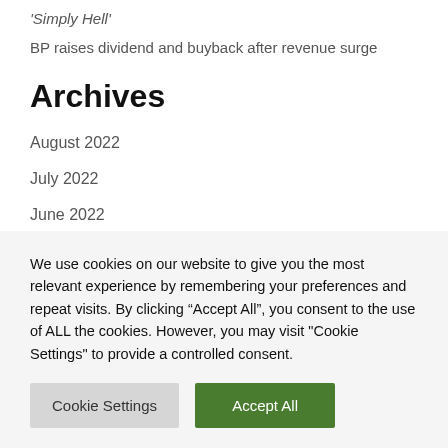'Simply Hell'
BP raises dividend and buyback after revenue surge
Archives
August 2022
July 2022
June 2022
May 2022
April 2022
We use cookies on our website to give you the most relevant experience by remembering your preferences and repeat visits. By clicking "Accept All", you consent to the use of ALL the cookies. However, you may visit "Cookie Settings" to provide a controlled consent.